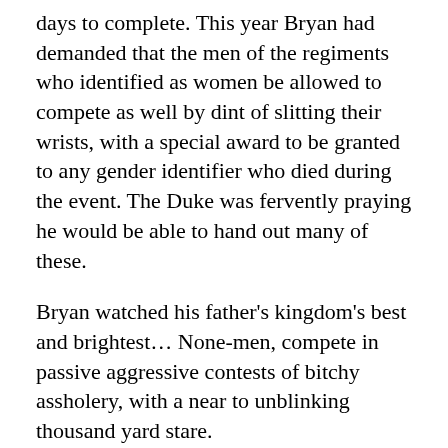days to complete.  This year Bryan had demanded that the men of the regiments who identified as women be allowed to compete as well by dint of slitting their wrists, with a special award to be granted to any gender identifier who died during the event.  The Duke was fervently praying he would be able to hand out many of these.
Bryan watched his father's kingdom's best and brightest… None-men, compete in passive aggressive contests of bitchy assholery, with a near to unblinking thousand yard stare.
Where happened to my country?  Bryan